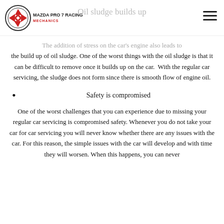Mazda Pro 7 Racing Mechanics — Oil sludge builds up
The addition of stress on the car's engine also leads to the build up of oil sludge. One of the worst things with the oil sludge is that it can be difficult to remove once it builds up on the car.  With the regular car servicing, the sludge does not form since there is smooth flow of engine oil.
Safety is compromised
One of the worst challenges that you can experience due to missing your regular car servicing is compromised safety. Whenever you do not take your car for car servicing you will never know whether there are any issues with the car. For this reason, the simple issues with the car will develop and with time they will worsen. When this happens, you can never